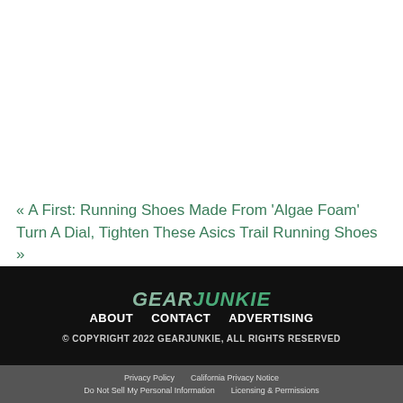« A First: Running Shoes Made From 'Algae Foam'
Turn A Dial, Tighten These Asics Trail Running Shoes »
[Figure (logo): GearJunkie logo in stylized italic font, gray and green on dark background]
ABOUT   CONTACT   ADVERTISING
© COPYRIGHT 2022 GEARJUNKIE, ALL RIGHTS RESERVED
Privacy Policy   California Privacy Notice   Do Not Sell My Personal Information   Licensing & Permissions